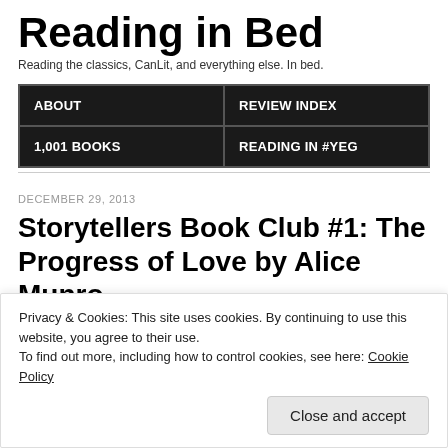Reading in Bed
Reading the classics, CanLit, and everything else. In bed.
ABOUT | REVIEW INDEX | 1,001 BOOKS | READING IN #YEG
DECEMBER 29, 2013
Storytellers Book Club #1: The Progress of Love by Alice Munro
[Figure (photo): Partial view of book cover, light blue/teal background visible]
Privacy & Cookies: This site uses cookies. By continuing to use this website, you agree to their use.
To find out more, including how to control cookies, see here: Cookie Policy
Close and accept